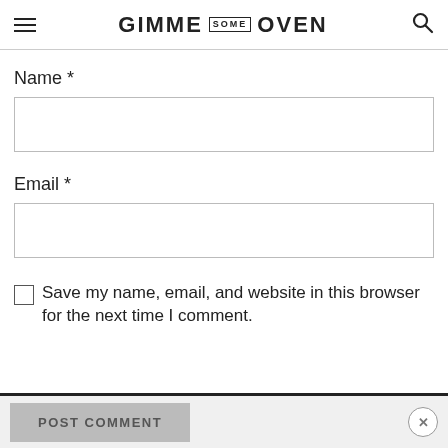GIMME SOME OVEN
Name *
Email *
Save my name, email, and website in this browser for the next time I comment.
POST COMMENT